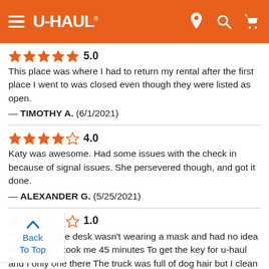U-HAUL
★★★★★ 5.0
This place was where I had to return my rental after the first place I went to was closed even though they were listed as open.
— TIMOTHY A.  (6/1/2021)
★★★★☆ 4.0
Katy was awesome. Had some issues with the check in because of signal issues. She persevered though, and got it done.
— ALEXANDER G.  (5/25/2021)
★☆☆☆☆ 1.0
The lady at the desk wasn't wearing a mask and had no idea what doing it took me 45 minutes To get the key for u-haul and I only one there The truck was full of dog hair but I clean the self and when I drop it off the same lady didn't know how to do the complete some paperwork to drop off paperwork so I waited more than 40 minutes